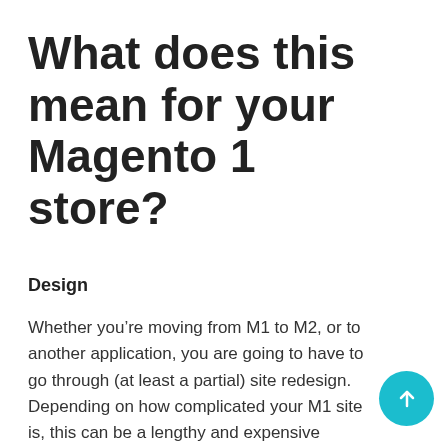What does this mean for your Magento 1 store?
Design
Whether you’re moving from M1 to M2, or to another application, you are going to have to go through (at least a partial) site redesign. Depending on how complicated your M1 site is, this can be a lengthy and expensive process.